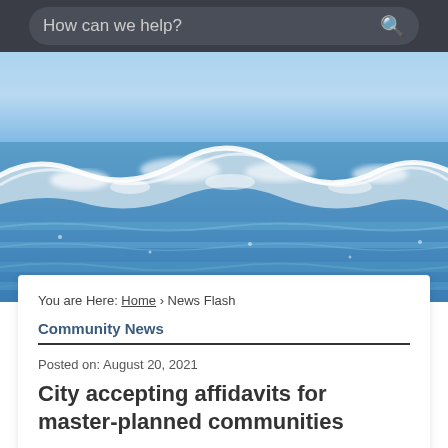[Figure (screenshot): Search bar with placeholder 'How can we help?' on dark background]
[Figure (photo): Ocean waves with white foam on blue water, sunny day]
You are Here: Home › News Flash
Community News
Posted on: August 20, 2021
City accepting affidavits for master-planned communities
Article snippet text continues below...